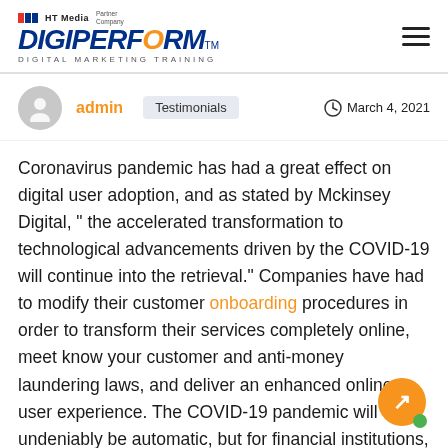HT Media Partner Company | DIGIPERFORM™ | DIGITAL MARKETING TRAINING
admin  Testimonials  March 4, 2021
Coronavirus pandemic has had a great effect on digital user adoption, and as stated by Mckinsey Digital, " the accelerated transformation to technological advancements driven by the COVID-19 will continue into the retrieval." Companies have had to modify their customer onboarding procedures in order to transform their services completely online, meet know your customer and anti-money laundering laws, and deliver an enhanced online user experience. The COVID-19 pandemic will undeniably be automatic, but for financial institutions, the banking sector, and other regulatory